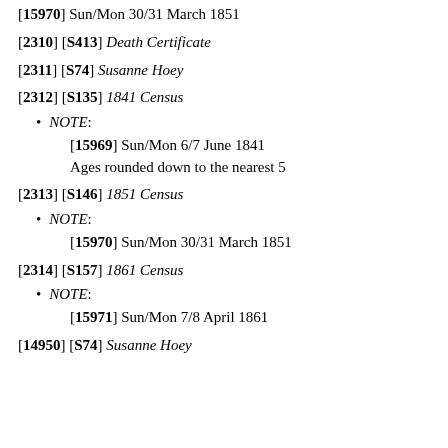[15970] Sun/Mon 30/31 March 1851
[2310] [S413] Death Certificate
[2311] [S74] Susanne Hoey
[2312] [S135] 1841 Census
NOTE: [15969] Sun/Mon 6/7 June 1841 Ages rounded down to the nearest 5
[2313] [S146] 1851 Census
NOTE: [15970] Sun/Mon 30/31 March 1851
[2314] [S157] 1861 Census
NOTE: [15971] Sun/Mon 7/8 April 1861
[14950] [S74] Susanne Hoey